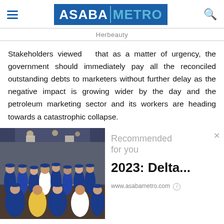ASABA METRO
Herbeauty
Stakeholders viewed  that as a matter of urgency, the government should immediately pay all the reconciled outstanding debts to marketers without further delay as the negative impact is growing wider by the day and the petroleum marketing sector and its workers are heading towards a catastrophic collapse.
[Figure (photo): Group photo of people in a hall wearing blue caps and uniforms, with columns and decorations in the background.]
Recommended for you
2023: Delta...
www.asabametro.com